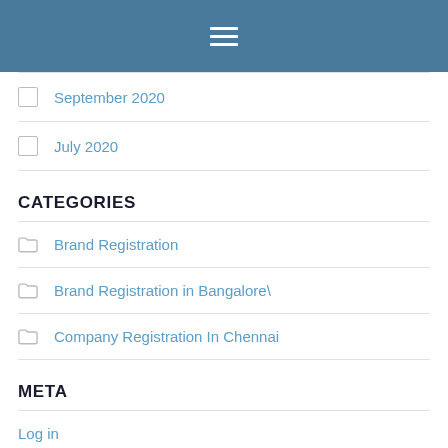Navigation menu (hamburger icon)
September 2020
July 2020
CATEGORIES
Brand Registration
Brand Registration in Bangalore\
Company Registration In Chennai
META
Log in